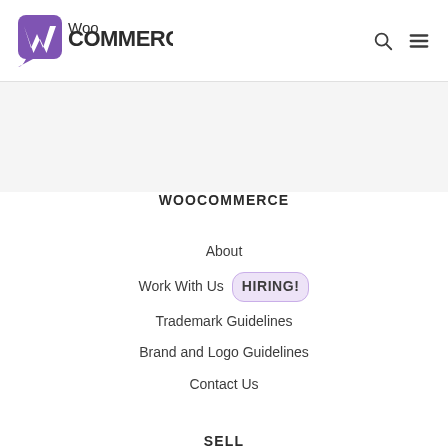WooCommerce
WOOCOMMERCE
About
Work With Us  HIRING!
Trademark Guidelines
Brand and Logo Guidelines
Contact Us
SELL
Sell Online